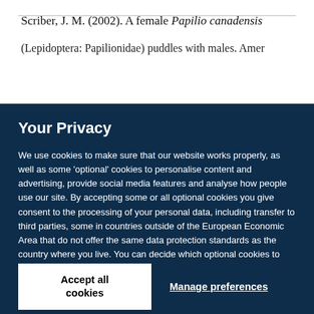Scriber, J. M. (2002). A female Papilio canadensis (Lepidoptera: Papilionidae) puddles with males. Amer
Your Privacy
We use cookies to make sure that our website works properly, as well as some 'optional' cookies to personalise content and advertising, provide social media features and analyse how people use our site. By accepting some or all optional cookies you give consent to the processing of your personal data, including transfer to third parties, some in countries outside of the European Economic Area that do not offer the same data protection standards as the country where you live. You can decide which optional cookies to accept by clicking on 'Manage Settings', where you can also find more information about how your personal data is processed. Further information can be found in our privacy policy.
Accept all cookies
Manage preferences